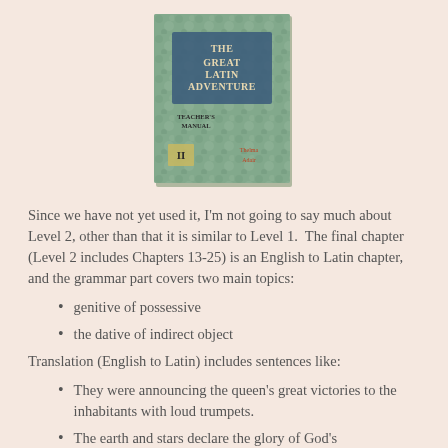[Figure (photo): Book cover of 'The Great Latin Adventure Teacher's Manual, Level II' with a teal/green mottled cover design and dark blue title box]
Since we have not yet used it, I'm not going to say much about Level 2, other than that it is similar to Level 1.  The final chapter (Level 2 includes Chapters 13-25) is an English to Latin chapter, and the grammar part covers two main topics:
genitive of possessive
the dative of indirect object
Translation (English to Latin) includes sentences like:
They were announcing the queen's great victories to the inhabitants with loud trumpets.
The earth and stars declare the glory of God's